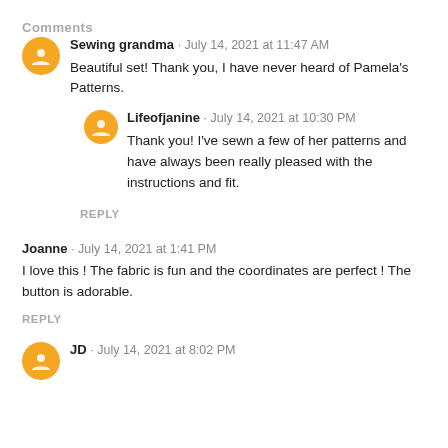Comments
Sewing grandma · July 14, 2021 at 11:47 AM
Beautiful set! Thank you, I have never heard of Pamela's Patterns.
Lifeofjanine · July 14, 2021 at 10:30 PM
Thank you! I've sewn a few of her patterns and have always been really pleased with the instructions and fit.
REPLY
Joanne · July 14, 2021 at 1:41 PM
I love this ! The fabric is fun and the coordinates are perfect ! The button is adorable.
REPLY
JD · July 14, 2021 at 8:02 PM